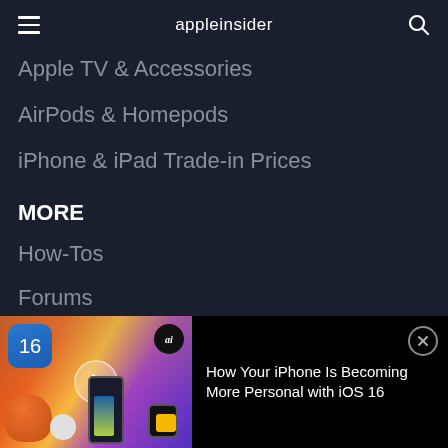appleinsider
Apple TV & Accessories
AirPods & Homepods
iPhone & iPad Trade-in Prices
MORE
How-Tos
Forums
Podcasts
Deals
[Figure (screenshot): Ad banner at bottom of screen showing Apple devices (iPhone, HomePod mini, AirPods, Apple Watch) with iOS 16 icon, ai badge, play button overlay, and text 'How Your iPhone Is Becoming More Personal with iOS 16' on black background with close button]